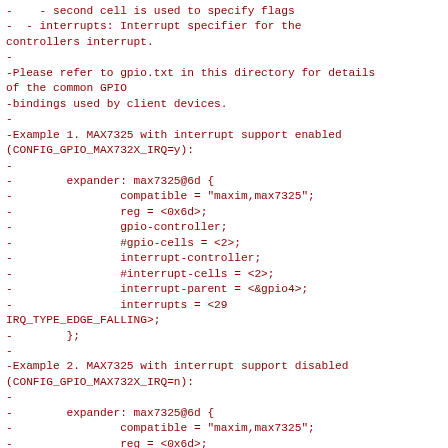-    - second cell is used to specify flags
-  - interrupts: Interrupt specifier for the controllers interrupt.
-
-Please refer to gpio.txt in this directory for details of the common GPIO
-bindings used by client devices.
-
-Example 1. MAX7325 with interrupt support enabled (CONFIG_GPIO_MAX732X_IRQ=y):
-
-        expander: max7325@6d {
-                compatible = "maxim,max7325";
-                reg = <0x6d>;
-                gpio-controller;
-                #gpio-cells = <2>;
-                interrupt-controller;
-                #interrupt-cells = <2>;
-                interrupt-parent = <&gpio4>;
-                interrupts = <29 IRQ_TYPE_EDGE_FALLING>;
-        };
-
-Example 2. MAX7325 with interrupt support disabled (CONFIG_GPIO_MAX732X_IRQ=n):
-
-        expander: max7325@6d {
-                compatible = "maxim,max7325";
-                reg = <0x6d>;
-                gpio-controller;